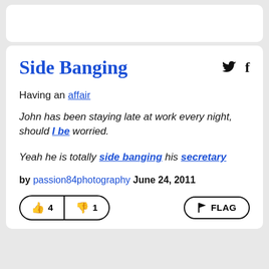Side Banging
Having an affair
John has been staying late at work every night, should I be worried.
Yeah he is totally side banging his secretary
by passion84photography June 24, 2011